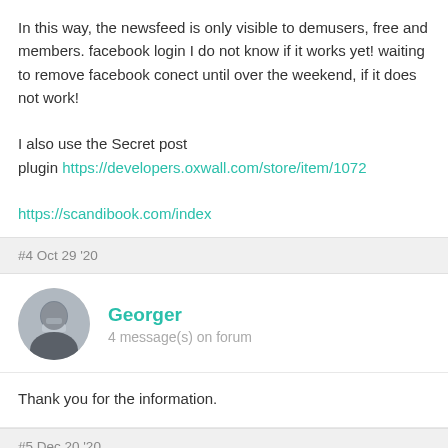In this way, the newsfeed is only visible to demusers, free and members. facebook login I do not know if it works yet! waiting to remove facebook conect until over the weekend, if it does not work!

I also use the Secret post plugin https://developers.oxwall.com/store/item/1072

https://scandibook.com/index
#4 Oct 29 '20
Georger
4 message(s) on forum
Thank you for the information.
#5 Dec 20 '20
Tia Charlton
1 message(s) on forum